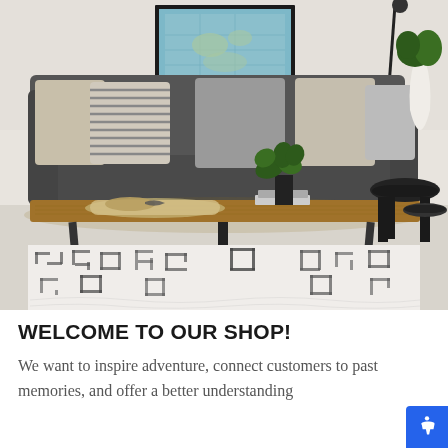[Figure (photo): Interior living room photo showing a dark grey sofa with decorative pillows, a live-edge wood coffee table with a decorative tray and plant, a patterned area rug in cream and black geometric design, a small black side table, a white vase with greenery, and a framed map artwork on the wall.]
WELCOME TO OUR SHOP!
We want to inspire adventure, connect customers to past memories, and offer a better understanding